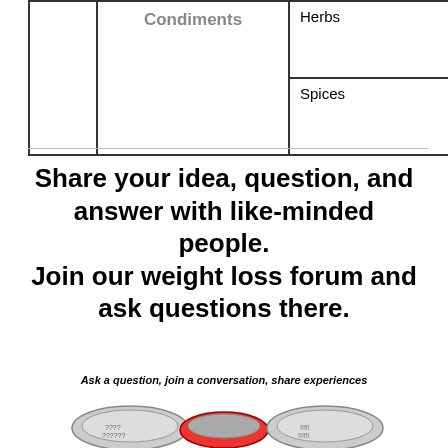|  | Condiments |  |
| --- | --- | --- |
|  | Condiments | Herbs

Spices |
Share your idea, question, and answer with like-minded people.
Join our weight loss forum and ask questions there.
Ask a question, join a conversation, share experiences
[Figure (illustration): Three running shoes viewed from above, showing two shoe tops with question marks pattern and one red-soled shoe in the middle]